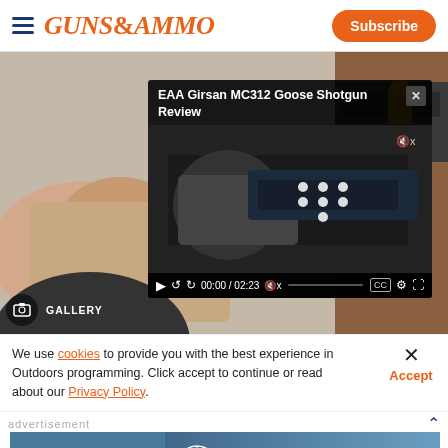Guns & Ammo | Subscribe
[Figure (screenshot): Guns & Ammo website screenshot showing a video player overlay with 'EAA Girsan MC312 Goose Shotgun Review' title, video controls showing 00:00 / 02:23, a background photo of hands loading a firearm, and a gallery bar at bottom]
We use cookies to provide you with the best experience in Outdoors programming. Click accept to continue or read about our Privacy Policy.
Advertisement
[Figure (illustration): Ballistic Advantage advertisement banner with a rifle scope image on the left and Shop Now button on the right]